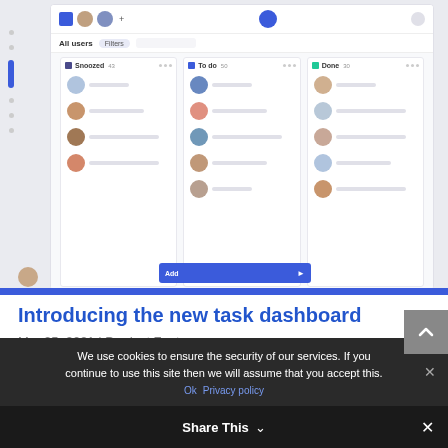[Figure (screenshot): Screenshot of a task management dashboard application showing a kanban board with three columns: Snoozed, To do, and Done. Each column contains user avatars with placeholder text lines. A blue 'Add' button bar is visible at the bottom center. The top bar shows navigation icons and user avatars.]
Introducing the new task dashboard
Mar 25, 2021 | Product Features
We use cookies to ensure the security of our services. If you continue to use this site then we will assume that you accept this.
Ok   Privacy policy
Share This